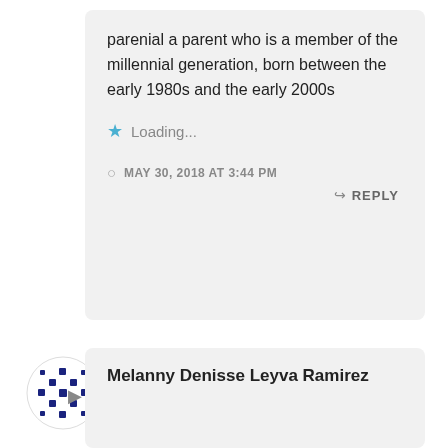parenial a parent who is a member of the millennial generation, born between the early 1980s and the early 2000s
Loading...
MAY 30, 2018 AT 3:44 PM
REPLY
[Figure (illustration): Circular avatar icon with blue and white geometric snowflake/mandala pattern]
Melanny Denisse Leyva Ramirez